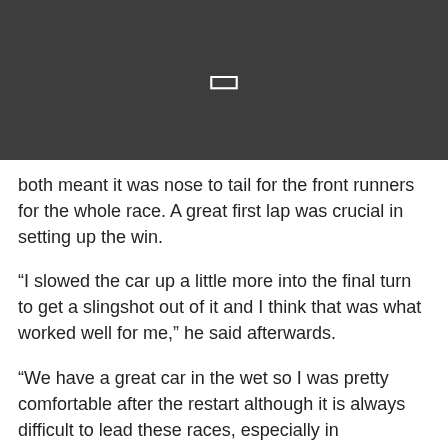[Figure (other): Dark grey header bar with a white rectangle/bookmark icon centered in it]
both meant it was nose to tail for the front runners for the whole race. A great first lap was crucial in setting up the win.
“I slowed the car up a little more into the final turn to get a slingshot out of it and I think that was what worked well for me,” he said afterwards.
“We have a great car in the wet so I was pretty comfortable after the restart although it is always difficult to lead these races, especially in unpredictable conditions. It’s great to win though and nice to see a rookie mixing it with us at the front too.”
That rookie – Hugo Allan – was delighted with his first visit to the podium after a great race.